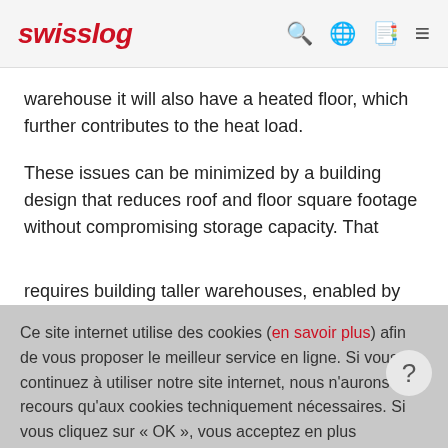swisslog
warehouse it will also have a heated floor, which further contributes to the heat load.
These issues can be minimized by a building design that reduces roof and floor square footage without compromising storage capacity. That requires building taller warehouses, enabled by
Ce site internet utilise des cookies (en savoir plus) afin de vous proposer le meilleur service en ligne. Si vous continuez à utiliser notre site internet, nous n'aurons recours qu'aux cookies techniquement nécessaires. Si vous cliquez sur « OK », vous acceptez en plus l'utilisation de cookies de marketing. En cliquant sur « Paramètres des cookies », vous pouvez sélectionner le